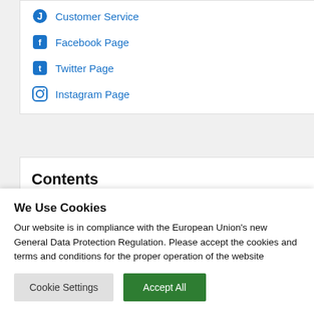Customer Service
Facebook Page
Twitter Page
Instagram Page
Contents
We Use Cookies
Our website is in compliance with the European Union's new General Data Protection Regulation. Please accept the cookies and terms and conditions for the proper operation of the website
Cookie Settings | Accept All